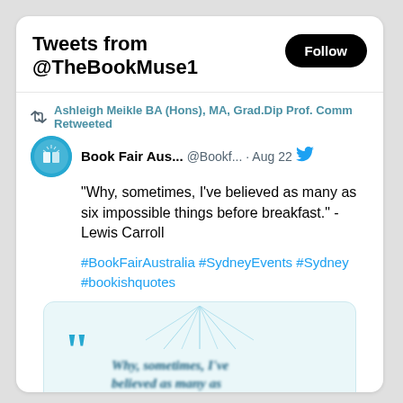Tweets from @TheBookMuse1
Ashleigh Meikle BA (Hons), MA, Grad.Dip Prof. Comm Retweeted
Book Fair Aus... @Bookf... · Aug 22
"Why, sometimes, I've believed as many as six impossible things before breakfast." - Lewis Carroll
#BookFairAustralia #SydneyEvents #Sydney #bookishquotes
[Figure (illustration): Quote card image with large teal quotation marks and blurred italic text reading 'Why, sometimes, I've believed as many as six impossible things before breakfast. - Lewis Carroll' on a light teal background with sunburst decoration at top]